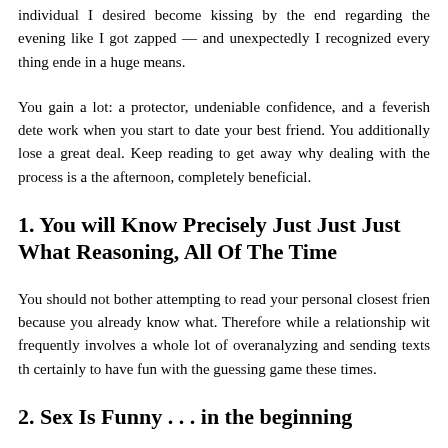individual I desired become kissing by the end regarding the evening like I got zapped — and unexpectedly I recognized every thing ended in a huge means.
You gain a lot: a protector, undeniable confidence, and a feverish dete work when you start to date your best friend. You additionally lose a great deal. Keep reading to get away why dealing with the process is a the afternoon, completely beneficial.
1. You will Know Precisely Just Just Just What Reasoning, All Of The Time
You should not bother attempting to read your personal closest frien because you already know what. Therefore while a relationship wit frequently involves a whole lot of overanalyzing and sending texts th certainly to have fun with the guessing game these times.
2. Sex Is Funny . . . in the beginning